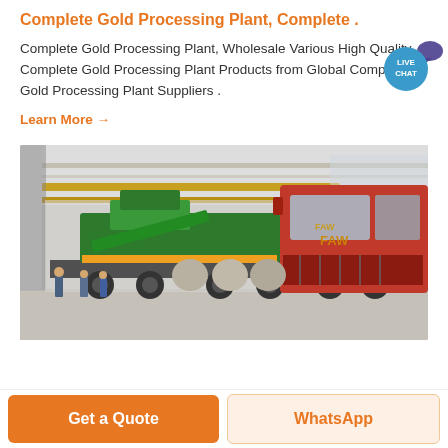Complete Gold Processing Plant, Complete .
Complete Gold Processing Plant, Wholesale Various High Quality Complete Gold Processing Plant Products from Global Complete Gold Processing Plant Suppliers .
Learn More →
[Figure (photo): Industrial warehouse with a large red FAW truck carrying green mining machinery on a flatbed trailer. Workers visible in background. Yellow overhead crane beams visible on ceiling.]
Get a Quote
WhatsApp